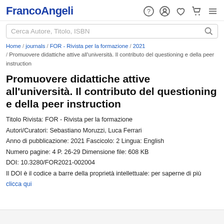FrancoAngeli
Cerca Autore, Titolo, ISBN
Home / journals / FOR - Rivista per la formazione / 2021 / Promuovere didattiche attive all'università. Il contributo del questioning e della peer instruction
Promuovere didattiche attive all'università. Il contributo del questioning e della peer instruction
Titolo Rivista: FOR - Rivista per la formazione
Autori/Curatori: Sebastiano Moruzzi, Luca Ferrari
Anno di pubblicazione: 2021 Fascicolo: 2 Lingua: English
Numero pagine: 4 P. 26-29 Dimensione file: 608 KB
DOI: 10.3280/FOR2021-002004
Il DOI è il codice a barre della proprietà intellettuale: per saperne di più
clicca qui